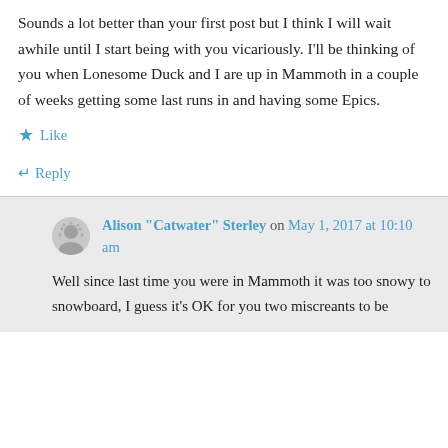Sounds a lot better than your first post but I think I will wait awhile until I start being with you vicariously. I'll be thinking of you when Lonesome Duck and I are up in Mammoth in a couple of weeks getting some last runs in and having some Epics.
★ Like
↵ Reply
Alison "Catwater" Sterley on May 1, 2017 at 10:10 am
Well since last time you were in Mammoth it was too snowy to snowboard, I guess it's OK for you two miscreants to be